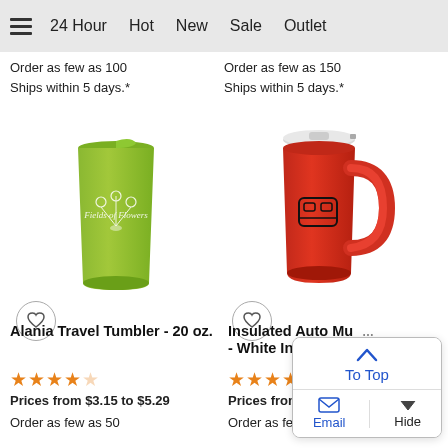24 Hour  Hot  New  Sale  Outlet
Order as few as 100
Ships within 5 days.*
Order as few as 150
Ships within 5 days.*
[Figure (photo): Green travel tumbler (20 oz) with white floral logo imprint]
[Figure (photo): Red insulated auto mug with white lid and handle, black logo imprint]
Alania Travel Tumbler - 20 oz.
Insulated Auto Mug - White Interior
★★★★☆
★★★★★
Prices from $3.15 to $5.29
Prices from
Order as few as 50
Order as few